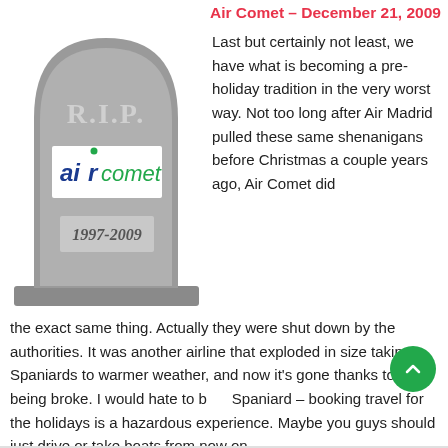Air Comet – December 21, 2009
[Figure (illustration): Tombstone/gravestone illustration with 'R.I.P.' text, Air Comet airline logo, and dates '1997-2009']
Last but certainly not least, we have what is becoming a pre-holiday tradition in the very worst way. Not too long after Air Madrid pulled these same shenanigans before Christmas a couple years ago, Air Comet did the exact same thing. Actually they were shut down by the authorities. It was another airline that exploded in size taking Spaniards to warmer weather, and now it's gone thanks to, well, being broke. I would hate to be a Spaniard – booking travel for the holidays is a hazardous experience. Maybe you guys should just drive or take boats from now on.